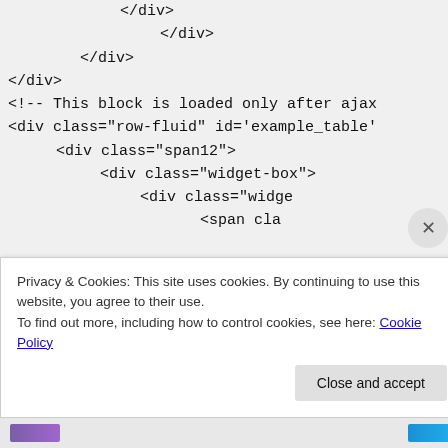</div>
        </div>
    </div>
</div>
<!-- This block is loaded only after ajax
<div class="row-fluid" id='example_table'
        <div class="span12">
                <div class="widget-box">
                        <div class="widge
                            <span cla
Privacy & Cookies: This site uses cookies. By continuing to use this website, you agree to their use.
To find out more, including how to control cookies, see here: Cookie Policy
Close and accept